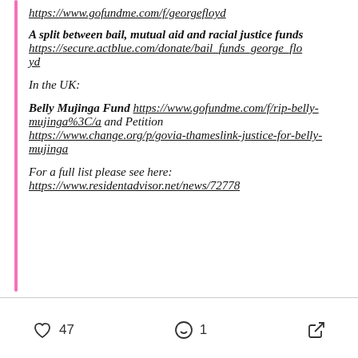https://www.gofundme.com/f/georgefloyd
A split between bail, mutual aid and racial justice funds https://secure.actblue.com/donate/bail_funds_george_floyd
In the UK:
Belly Mujinga Fund https://www.gofundme.com/f/rip-belly-mujinga%3C/a and Petition https://www.change.org/p/govia-thameslink-justice-for-belly-mujinga
For a full list please see here: https://www.residentadvisor.net/news/72778
47   1